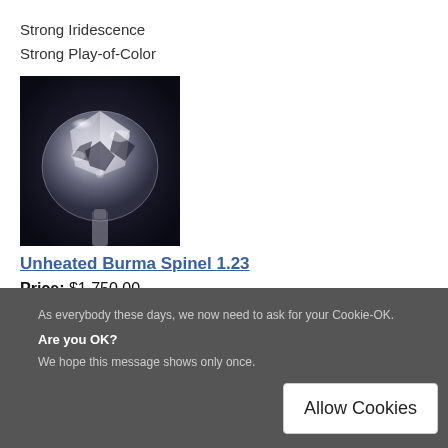Strong Iridescence
Strong Play-of-Color
[Figure (photo): Close-up photo of a round faceted colorless/white Unheated Burma Spinel gemstone being held by tweezers against a dark background, showing brilliance and light reflection.]
Unheated Burma Spinel 1.23
Price: $1,750.00
ADD TO CART  BUY NOW
As everybody these days, we now need to ask for your Cookie-OK.
Are you OK?
We hope this message shows only once.
Allow Cookies